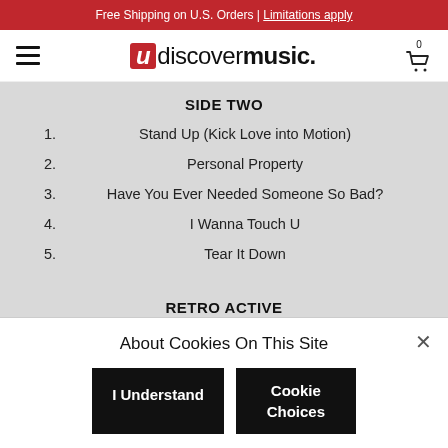Free Shipping on U.S. Orders | Limitations apply
[Figure (logo): uDiscover Music logo with hamburger menu and cart icon]
SIDE TWO
1. Stand Up (Kick Love into Motion)
2. Personal Property
3. Have You Ever Needed Someone So Bad?
4. I Wanna Touch U
5. Tear It Down
RETRO ACTIVE
About Cookies On This Site
I Understand
Cookie Choices